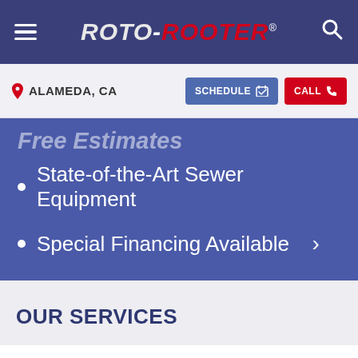ROTO-ROOTER® — Navigation bar with hamburger menu and search icon
ALAMEDA, CA
SCHEDULE | CALL
Free Estimates
State-of-the-Art Sewer Equipment
Special Financing Available >
OUR SERVICES